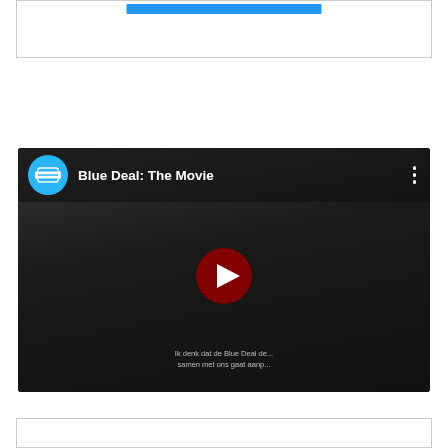[Figure (screenshot): Top bordered box with a blue bar/button element near the top center]
[Figure (screenshot): YouTube video embed showing 'Blue Deal: The Movie' with a dark thumbnail of a person, YouTube play button in dark red, channel icon in blue, and subtitle text 'Ik denk dat de Blue Deal de... samen met ons gaat aanp...']
[Figure (screenshot): Bottom bordered white box, partially visible at the bottom of the page]